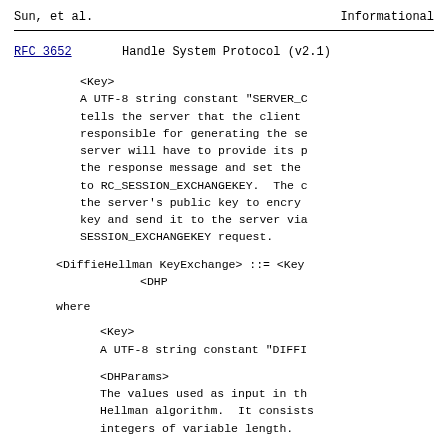Sun, et al.                    Informational
RFC 3652                Handle System Protocol (v2.1)
<Key>
A UTF-8 string constant "SERVER_C... tells the server that the client responsible for generating the se... server will have to provide its p... the response message and set the to RC_SESSION_EXCHANGEKEY. The c... the server's public key to encry... key and send it to the server via SESSION_EXCHANGEKEY request.
<DiffieHellman KeyExchange> ::= <Key>
                                <DHP...
where
<Key>
A UTF-8 string constant "DIFFI...
<DHParams>
The values used as input in th... Hellman algorithm. It consists... integers of variable length.